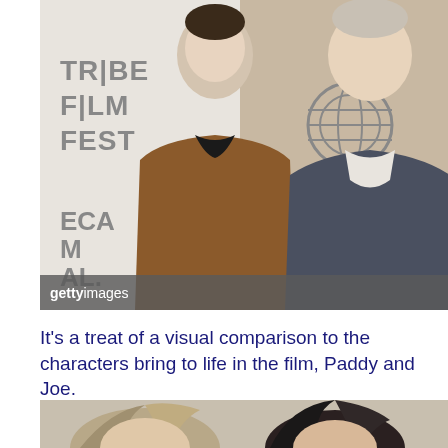[Figure (photo): Two men standing at a Tribeca Film Festival backdrop with AT&T logo. Left man wearing a brown polo shirt, right man in a dark blazer. Getty Images watermark visible.]
gettyimages
It's a treat of a visual comparison to the characters bring to life in the film, Paddy and Joe.
[Figure (photo): Bottom portion of image showing two people with messy hair, cropped at the top of the page area.]